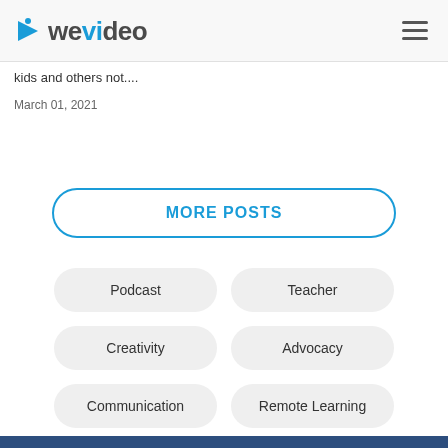WeVideo
kids and others not....
March 01, 2021
MORE POSTS
Podcast
Teacher
Creativity
Advocacy
Communication
Remote Learning